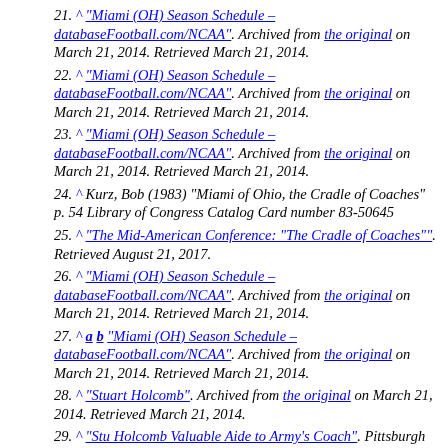21. ^ "Miami (OH) Season Schedule – databaseFootball.com/NCAA". Archived from the original on March 21, 2014. Retrieved March 21, 2014.
22. ^ "Miami (OH) Season Schedule – databaseFootball.com/NCAA". Archived from the original on March 21, 2014. Retrieved March 21, 2014.
23. ^ "Miami (OH) Season Schedule – databaseFootball.com/NCAA". Archived from the original on March 21, 2014. Retrieved March 21, 2014.
24. ^ Kurz, Bob (1983) "Miami of Ohio, the Cradle of Coaches" p. 54 Library of Congress Catalog Card number 83-50645
25. ^ "The Mid-American Conference: "The Cradle of Coaches"". Retrieved August 21, 2017.
26. ^ "Miami (OH) Season Schedule – databaseFootball.com/NCAA". Archived from the original on March 21, 2014. Retrieved March 21, 2014.
27. ^ a b "Miami (OH) Season Schedule – databaseFootball.com/NCAA". Archived from the original on March 21, 2014. Retrieved March 21, 2014.
28. ^ "Stuart Holcomb". Archived from the original on March 21, 2014. Retrieved March 21, 2014.
29. ^ "Stu Holcomb Valuable Aide to Army's Coach". Pittsburgh Post-Gazette – via Google News Archive Search.
30. ^ "Sid Gillman". Archived from the original on March 21, 2014. Retrieved March 21, 2014.